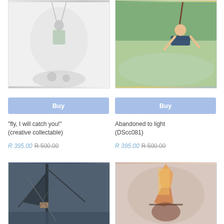[Figure (photo): Black and white sketch/painting of a girl on a swing with hands below]
[Figure (photo): Colorful painting of a boy swinging on a rope over water]
Buy
Buy
"fly, I will catch you!" (creative collectable)
Abandoned to light (DScc081)
R 395.00 R 500.00
R 395.00 R 500.00
[Figure (photo): Dark painting of a sailboat with masts and rigging]
[Figure (photo): Abstract painting with figure and warm tones with fire]